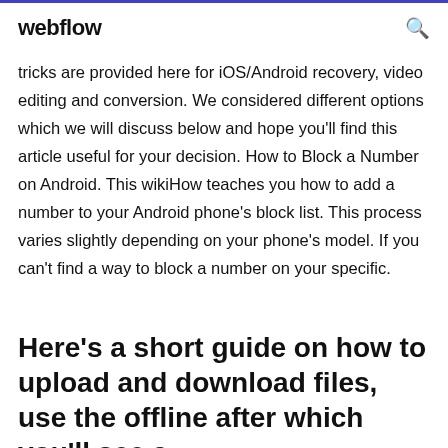webflow
tricks are provided here for iOS/Android recovery, video editing and conversion. We considered different options which we will discuss below and hope you'll find this article useful for your decision. How to Block a Number on Android. This wikiHow teaches you how to add a number to your Android phone's block list. This process varies slightly depending on your phone's model. If you can't find a way to block a number on your specific.
Here's a short guide on how to upload and download files, use the offline after which you'll see a